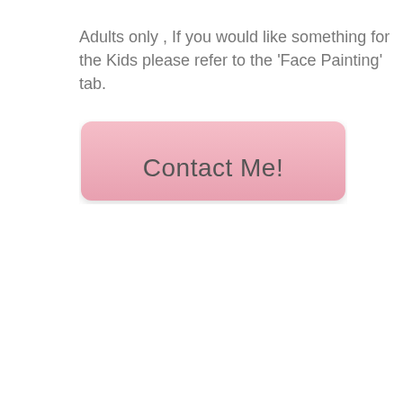Adults only , If you would like something for the Kids please refer to the 'Face Painting' tab.
[Figure (other): A large rounded rectangle button with a pink gradient background and the text 'Contact Me!' in dark gray]